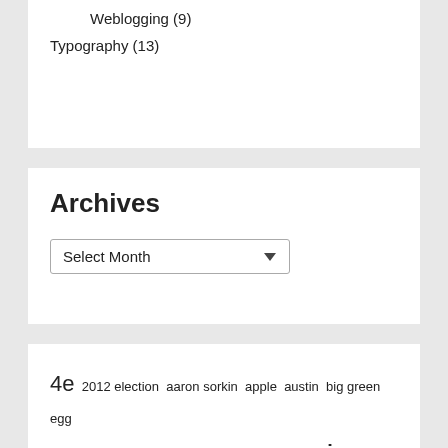Weblogging (9)
Typography (13)
Archives
Select Month
4e  2012 election  aaron sorkin  apple  austin  big green egg  blades in the dark  books  boston  campaigns  coffee  cooking  d&d  dark heresy  dice  dkm  ebooks  fantasia  fantasy  feng shui